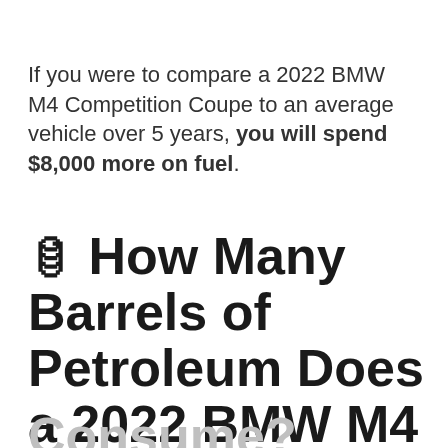If you were to compare a 2022 BMW M4 Competition Coupe to an average vehicle over 5 years, you will spend $8,000 more on fuel.
🛢 How Many Barrels of Petroleum Does a 2022 BMW M4 Competition Coupe Consume?